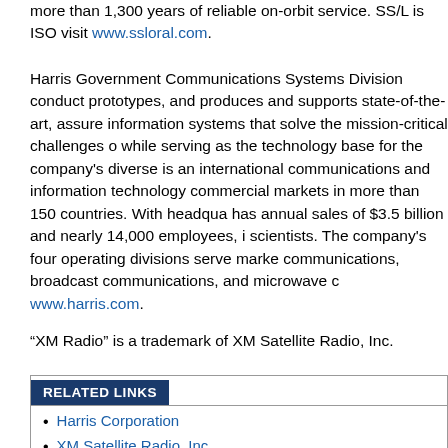more than 1,300 years of reliable on-orbit service. SS/L is ISO visit www.ssloral.com.
Harris Government Communications Systems Division conducts prototypes, and produces and supports state-of-the-art, assured information systems that solve the mission-critical challenges of while serving as the technology base for the company's diverse is an international communications and information technology commercial markets in more than 150 countries. With headqua has annual sales of $3.5 billion and nearly 14,000 employees, i scientists. The company's four operating divisions serve marke communications, broadcast communications, and microwave c www.harris.com.
“XM Radio” is a trademark of XM Satellite Radio, Inc.
RELATED LINKS
Harris Corporation
XM Satellite Radio, Inc.